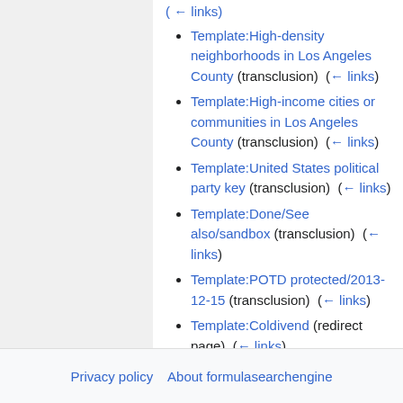Template:High-density neighborhoods in Los Angeles County (transclusion) (← links)
Template:High-income cities or communities in Los Angeles County (transclusion) (← links)
Template:United States political party key (transclusion) (← links)
Template:Done/See also/sandbox (transclusion) (← links)
Template:POTD protected/2013-12-15 (transclusion) (← links)
Template:Coldivend (redirect page) (← links)
View (previous 500 | next 500) (20 | 50 | 100 | 250 | 500)
Privacy policy   About formulasearchengine